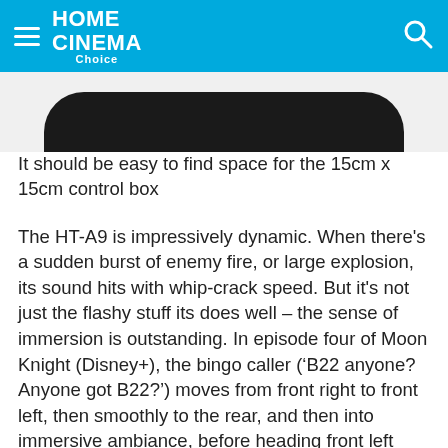HOME CINEMA Choice
[Figure (photo): Bottom portion of a dark/black rounded device, likely a Sony HT-A9 speaker or control unit, shown against a light grey background]
It should be easy to find space for the 15cm x 15cm control box
The HT-A9 is impressively dynamic. When there's a sudden burst of enemy fire, or large explosion, its sound hits with whip-crack speed. But it's not just the flashy stuff its does well – the sense of immersion is outstanding. In episode four of Moon Knight (Disney+), the bingo caller (‘B22 anyone? Anyone got B22?’) moves from front right to front left, then smoothly to the rear, and then into immersive ambiance, before heading front left (‘N39?’) as we